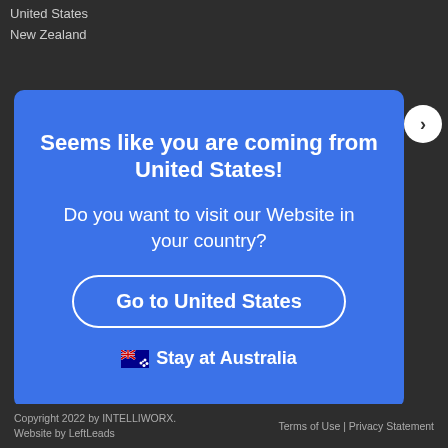United States
New Zealand
[Figure (screenshot): Modal dialog with blue background asking user if they want to visit the website in their country (United States), with a 'Go to United States' button and 'Stay at Australia' option with Australian flag emoji]
Copyright 2022 by INTELLIWORX. Website by LeftLeads | Terms of Use | Privacy Statement